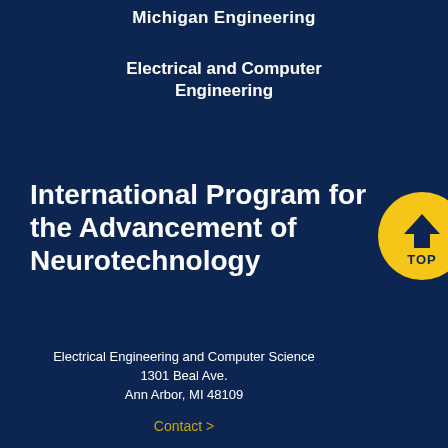Michigan Engineering
Electrical and Computer Engineering
International Program for the Advancement of Neurotechnology
[Figure (logo): Yellow circular TOP badge with upward chevron arrow and text TOP]
Electrical Engineering and Computer Science
1301 Beal Ave.
Ann Arbor, MI 48109
Contact >